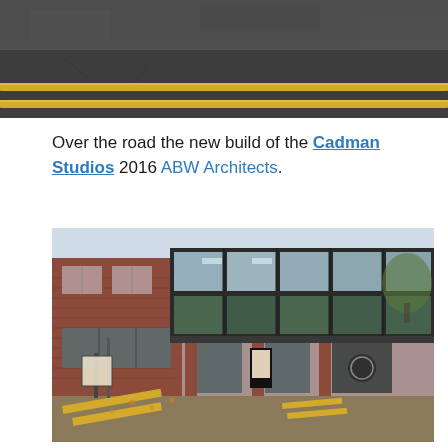[Figure (photo): Aerial/close-up photo of a road surface showing double yellow lines on dark asphalt]
Over the road the new build of the Cadman Studios 2016 ABW Architects.
[Figure (photo): Street-level photograph of the Cadman Studios building (2016, ABW Architects): a modern two-storey structure with a glazed curtain-wall upper floor on pilotis, brick lower section to the left, and yellow road markings in the foreground]